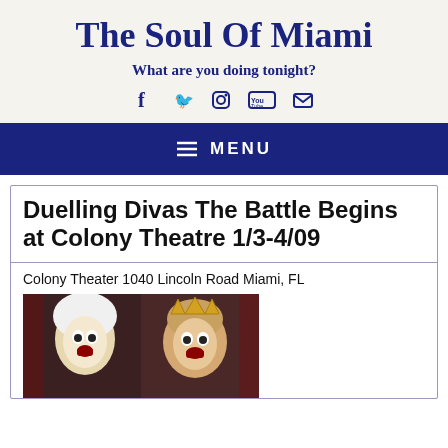The Soul Of Miami
What are you doing tonight?
MENU
Duelling Divas The Battle Begins at Colony Theatre 1/3-4/09
Colony Theater 1040 Lincoln Road Miami, FL
[Figure (photo): Two women performers with open mouths as if screaming or singing dramatically, one wearing a white wig and the other wearing a crown, theatrical costumes]